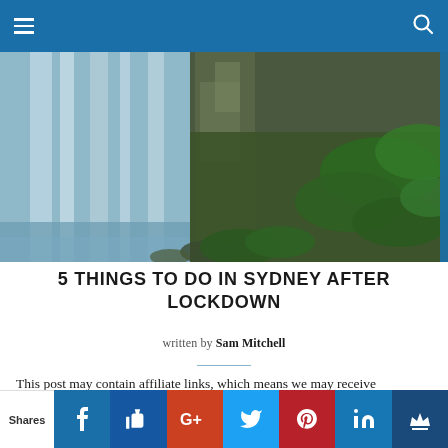Navigation header with hamburger menu and search icon
[Figure (photo): Waterfall cascading over mossy rocks surrounded by lush green ferns and tropical vegetation]
5 THINGS TO DO IN SYDNEY AFTER LOCKDOWN
written by Sam Mitchell
This post may contain affiliate links, which means we may receive a small commission, but it'll cost you nothing if you make a
Shares | Facebook | Like | Google+ | Twitter | Pinterest | LinkedIn | Crown